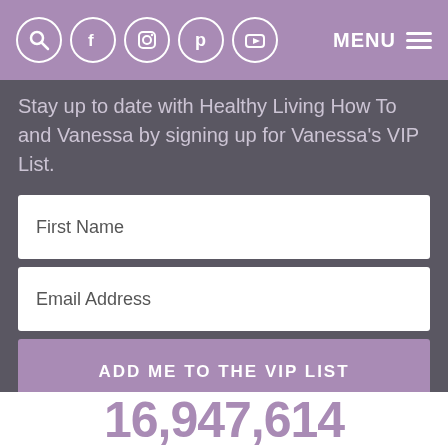MENU (navigation icons: search, facebook, instagram, pinterest, youtube)
Stay up to date with Healthy Living How To and Vanessa by signing up for Vanessa's VIP List.
First Name
Email Address
ADD ME TO THE VIP LIST
16,947,614